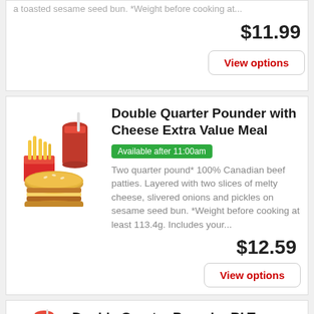a toasted sesame seed bun. *Weight before cooking at...
$11.99
View options
[Figure (photo): McDonald's Double Quarter Pounder with Cheese Extra Value Meal with fries and Coca-Cola drink]
Double Quarter Pounder with Cheese Extra Value Meal
Available after 11:00am
Two quarter pound* 100% Canadian beef patties. Layered with two slices of melty cheese, slivered onions and pickles on sesame seed bun. *Weight before cooking at least 113.4g. Includes your...
$12.59
View options
Double Quarter Pounder BLT Extra Value Meal